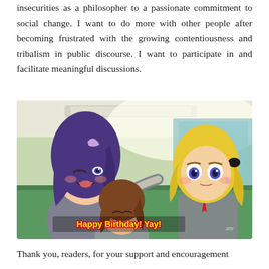insecurities as a philosopher to a passionate commitment to social change. I want to do more with other people after becoming frustrated with the growing contentiousness and tribalism in public discourse. I want to participate in and facilitate meaningful discussions.
[Figure (illustration): Anime screenshot showing three anime characters in a school setting. A purple-haired character with one eye closed appears to be celebrating, a brown-haired character is in the middle foreground, and a blonde character in a suit with a red tie looks surprised or dismayed. Subtitle text at the bottom reads 'Happy Birthday! Yay!' in yellow outlined text.]
Thank you, readers, for your support and encouragement